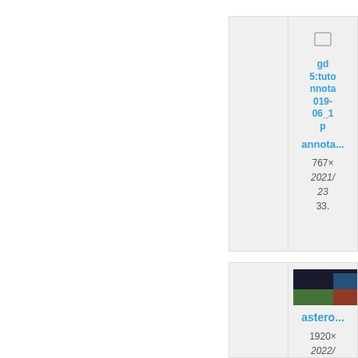[Figure (screenshot): File browser card showing annotation PNG thumbnail with link text 'gdevelop5:tutorials:annotation_2019-07-05_171958.png', filename 'annotation...', dimensions 765×552, date 2021/11/22 23:06, size 48.4 KB]
[Figure (screenshot): Partially visible file browser card showing annotation PNG with link starting 'gd 5:tuto nno 019 06_1... p annota...' dimensions 767×..., date 2021/... 23..., size 33....]
[Figure (screenshot): File browser card showing ZIP file icon with link 'assets.zip', date 2021/11/22 23:06, size 3.5 KB]
[Figure (screenshot): Partially visible file browser card showing screenshot thumbnail with link starting 'astero...', dimensions 1920×..., date 2022/... 18..., size 865...]